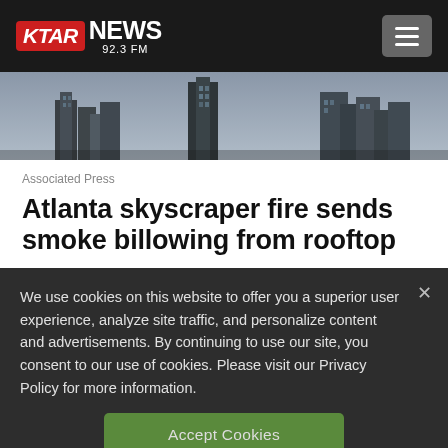KTAR NEWS 92.3 FM
[Figure (photo): Aerial view of Atlanta city skyline with tall skyscrapers under cloudy grey sky]
Associated Press
Atlanta skyscraper fire sends smoke billowing from rooftop
We use cookies on this website to offer you a superior user experience, analyze site traffic, and personalize content and advertisements. By continuing to use our site, you consent to our use of cookies. Please visit our Privacy Policy for more information.
Accept Cookies